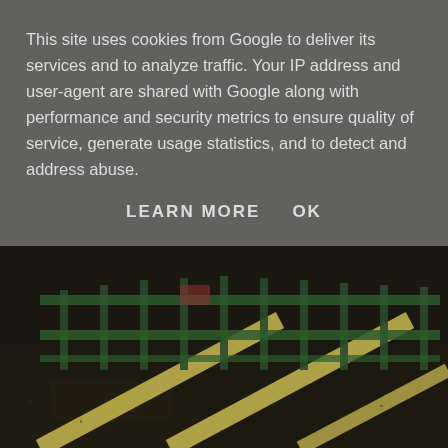This site uses cookies from Google to deliver its services and to analyze traffic. Your IP address and user-agent are shared with Google along with performance and security metrics to ensure quality of service, generate usage statistics, and to detect and address abuse.
LEARN MORE    OK
[Figure (photo): Close-up photo of dark soil or mulch ground with diagonal yellow/cream painted lines and green metal fence or gate bars visible in the upper portion of the image.]
As we arrived there were reindeer in the carpark - who are there twice more in December if you'd like to see them too - and there was a local church choir whilst we ate. I'm sorry but can you think of anything more festive?! The decor in